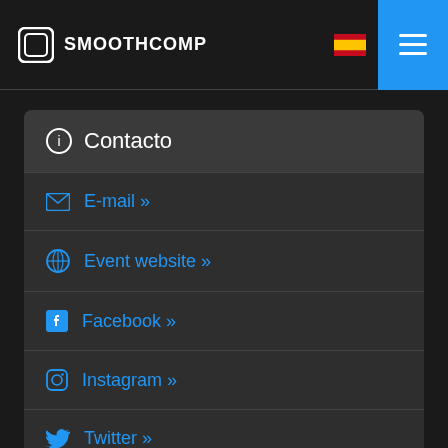SMOOTHCOMP
ⓘ Contacto
E-mail »
Event website »
Facebook »
Instagram »
Twitter »
YouTube »